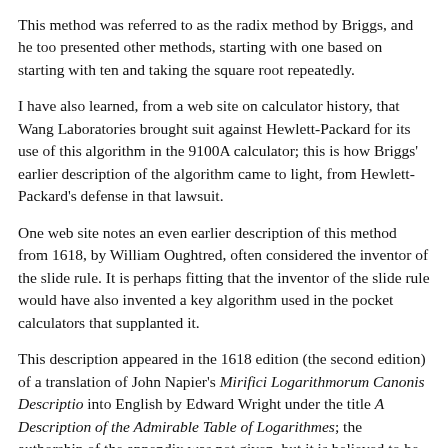This method was referred to as the radix method by Briggs, and he too presented other methods, starting with one based on starting with ten and taking the square root repeatedly.
I have also learned, from a web site on calculator history, that Wang Laboratories brought suit against Hewlett-Packard for its use of this algorithm in the 9100A calculator; this is how Briggs' earlier description of the algorithm came to light, from Hewlett-Packard's defense in that lawsuit.
One web site notes an even earlier description of this method from 1618, by William Oughtred, often considered the inventor of the slide rule. It is perhaps fitting that the inventor of the slide rule would have also invented a key algorithm used in the pocket calculators that supplanted it.
This description appeared in the 1618 edition (the second edition) of a translation of John Napier's Mirifici Logarithmorum Canonis Descriptio into English by Edward Wright under the title A Description of the Admirable Table of Logarithmes; the authorship of the appendix was not given, but it is believed to be by William Oughtred, and it is also notable for first introducing the X-shaped symbol for multiplication.
Edward Wright is also noted for putting Mercator's projection on